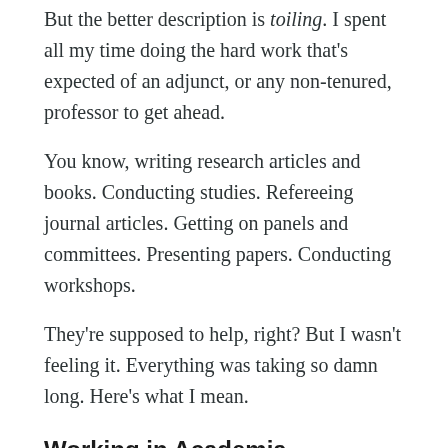But the better description is toiling. I spent all my time doing the hard work that's expected of an adjunct, or any non-tenured, professor to get ahead.
You know, writing research articles and books. Conducting studies. Refereeing journal articles. Getting on panels and committees. Presenting papers. Conducting workshops.
They're supposed to help, right? But I wasn't feeling it. Everything was taking so damn long. Here's what I mean.
Working in Academia
Let's start with publishing. The first book I...